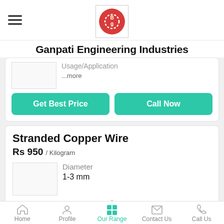[Figure (logo): Ganpati Engineering Industries logo — red circular emblem with stylized letters in white]
Ganpati Engineering Industries
Usage/Application
...more
Get Best Price
Call Now
Stranded Copper Wire
Rs 950 / Kilogram
Diameter
1-3 mm
Home  Profile  Our Range  Contact Us  Call Us